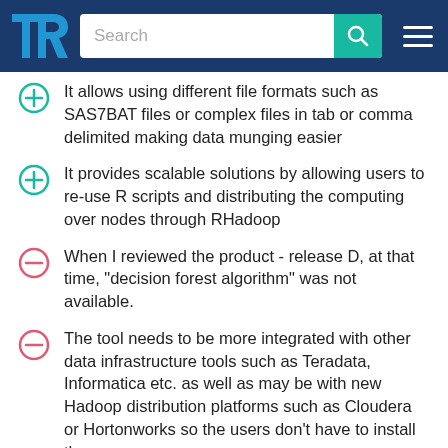TrustRadius – Search
It allows using different file formats such as SAS7BAT files or complex files in tab or comma delimited making data munging easier
It provides scalable solutions by allowing users to re-use R scripts and distributing the computing over nodes through RHadoop
When I reviewed the product - release D, at that time, "decision forest algorithm" was not available.
The tool needs to be more integrated with other data infrastructure tools such as Teradata, Informatica etc. as well as may be with new Hadoop distribution platforms such as Cloudera or Hortonworks so the users don't have to install the